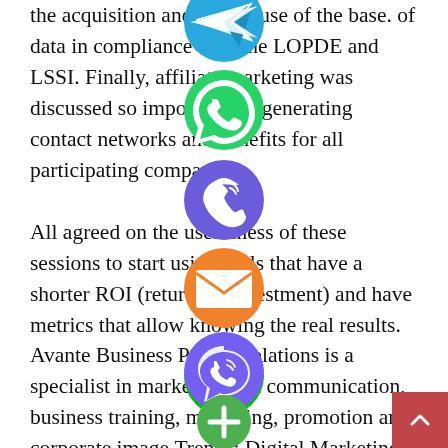the acquisition and proper use of the base. of data in compliance with the LOPDE and LSSI. Finally, affiliate marketing was discussed so important for generating contact networks and benefits for all participating companies.

All agreed on the usefulness of these sessions to start using tools that have a shorter ROI (return on investment) and have metrics that allow knowing the real results. Avante Business Public Relations is a specialist in marketing and communication, business training, marketing, promotion and corporate image.Trends: Digital Marketing will continue its rapid growth
Tags marketing online advertising 2009 technology trends marketing-digital
Master in Digital Marketing Management –
[Figure (illustration): Stack of social media / messaging app share icons vertically centered on page: Telegram (blue), WhatsApp (green), phone/viber (purple), email (orange), LINE (green), Viber (purple), plus/add (green)]